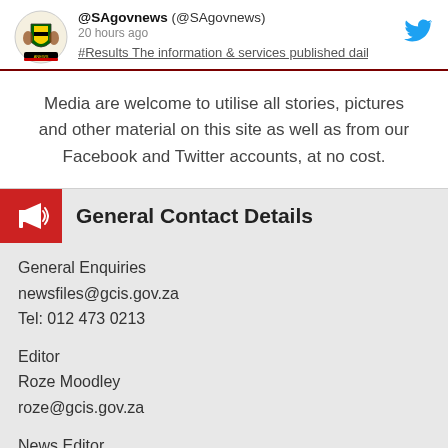[Figure (screenshot): Twitter card showing @SAgovnews account, 20 hours ago, with partial tweet text underlined]
Media are welcome to utilise all stories, pictures and other material on this site as well as from our Facebook and Twitter accounts, at no cost.
General Contact Details
General Enquiries
newsfiles@gcis.gov.za
Tel: 012 473 0213
Editor
Roze Moodley
roze@gcis.gov.za
News Editor
Janine Arcangeli
janine@gcis.gov.za